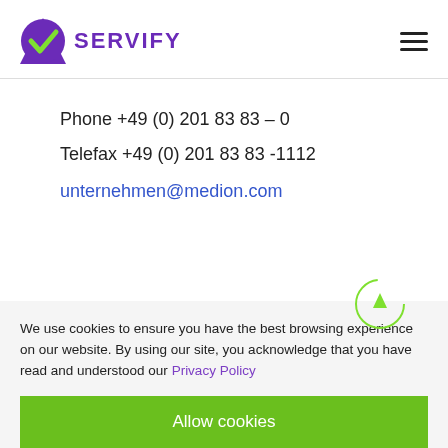SERVIFY
Phone +49 (0) 201 83 83 – 0
Telefax +49 (0) 201 83 83 -1112
unternehmen@medion.com
We use cookies to ensure you have the best browsing experience on our website. By using our site, you acknowledge that you have read and understood our Privacy Policy
Allow cookies